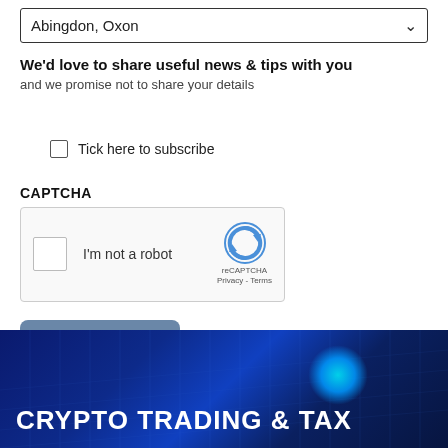Abingdon, Oxon
We'd love to share useful news & tips with you
and we promise not to share your details
Tick here to subscribe
CAPTCHA
[Figure (screenshot): reCAPTCHA widget with checkbox labeled I'm not a robot and reCAPTCHA Privacy - Terms branding]
SUBMIT
[Figure (photo): Dark blue digital/technology background banner with text CRYPTO TRADING & TAX in bold white letters and a glowing cyan light effect]